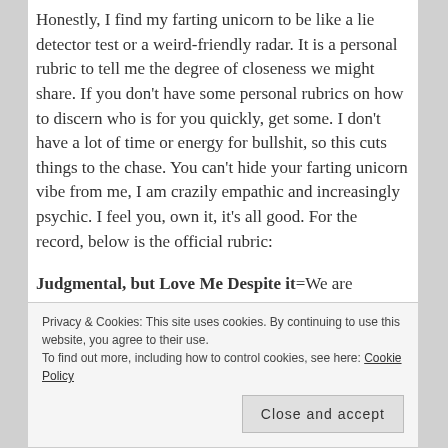Honestly, I find my farting unicorn to be like a lie detector test or a weird-friendly radar. It is a personal rubric to tell me the degree of closeness we might share. If you don't have some personal rubrics on how to discern who is for you quickly, get some. I don't have a lot of time or energy for bullshit, so this cuts things to the chase. You can't hide your farting unicorn vibe from me, I am crazily empathic and increasingly psychic. I feel you, own it, it's all good. For the record, below is the official rubric:
Judgmental, but Love Me Despite it=We are probably blood related or family of some kind. I've spent time talking about you in therapy. I work hard to have compassion and
Privacy & Cookies: This site uses cookies. By continuing to use this website, you agree to their use. To find out more, including how to control cookies, see here: Cookie Policy